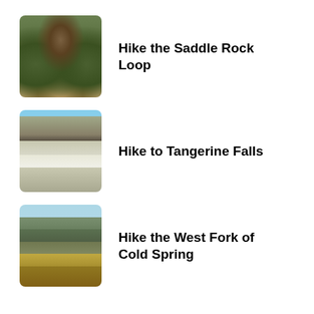Hike the Saddle Rock Loop
Hike to Tangerine Falls
Hike the West Fork of Cold Spring